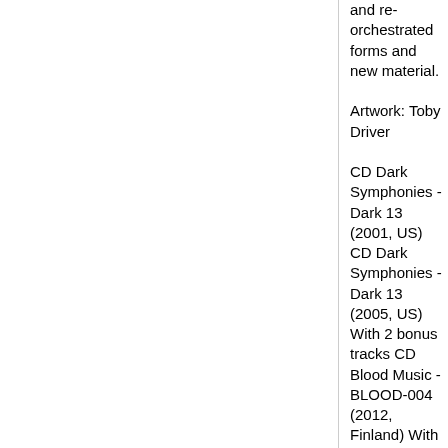and re-orchestrated forms and new material.

Artwork: Toby Driver

CD Dark Symphonies - Dark 13 (2001, US) CD Dark Symphonies - Dark 13 (2005, US) With 2 bonus tracks CD Blood Music - BLOOD-004 (2012, Finland) With 1 bonus